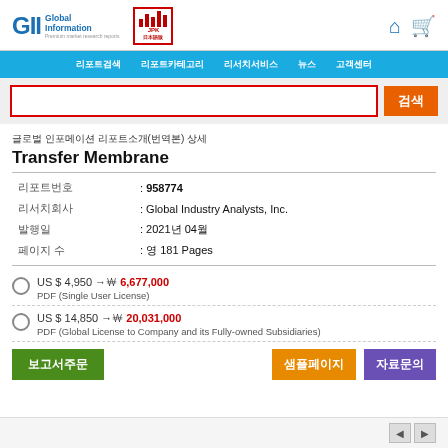GII Global Information | JPK logo | home icon | cart icon
Navigation bar: 리포트검색 | 리포트카테고리 | 리서치서비스 | 뉴스 | 고객센터
검색 (search bar)
글로벌 인포메이션 리포트소개(번역본) 상세
Transfer Membrane
| 필드 | 값 |
| --- | --- |
| 리포트번호 | : 958774 |
| 리서치회사 | : Global Industry Analysts, Inc. |
| 발행일 | : 2021년 04월 |
| 페이지 수 | : 영 181 Pages |
US $ 4,950 → ￦ 6,677,000 — PDF (Single User License)
US $ 14,850 → ￦ 20,031,000 — PDF (Global License to Company and its Fully-owned Subsidiaries)
보고서주문 | 샘플페이지 | 자료문의